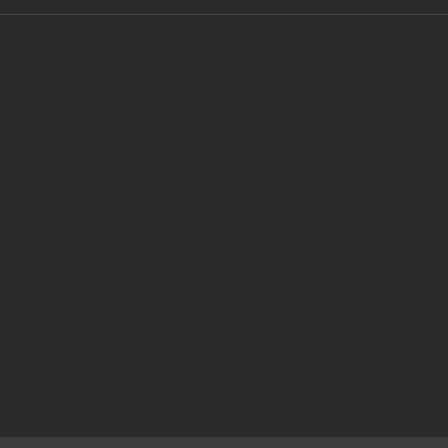+ CHAOS DAEMONS +
A Nightmare made real - Chaos Daemons
14.1k posts
Codex Daemons Leaks/Pics - 16 min
+ CHAOS KNIGHTS +
A legacy of betrayal
937 posts
The Bringers of Judgment - Dr. Ruminahui's knights - 20 hr
+ HERETIC ASTARTES +
└ + DEATH GUARD +, + THOUSAND SONS +, + WORLD EATERS +
216k posts
Death to the False Emperor!
Important Information
By using this site, you agree to our Terms of Use.
✓  I accept